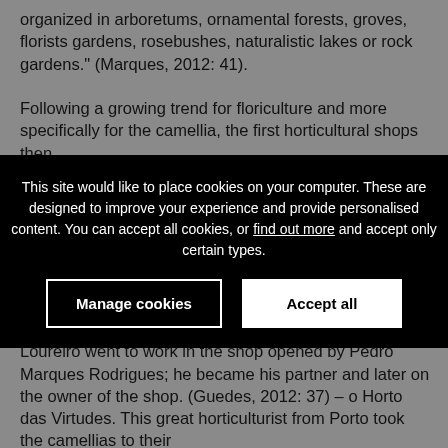organized in arboretums, ornamental forests, groves, florists gardens, rosebushes, naturalistic lakes or rock gardens." (Marques, 2012: 41).
Following a growing trend for floriculture and more specifically for the camellia, the first horticultural shops then
This site would like to place cookies on your computer. These are designed to improve your experience and provide personalised content. You can accept all cookies, or find out more and accept only certain types.
the city of Porto occurred when in 1849, José Marques Loureiro went to work in the shop opened by Pedro Marques Rodrigues; he became his partner and later on the owner of the shop. (Guedes, 2012: 37) – o Horto das Virtudes. This great horticulturist from Porto took the camellias to their